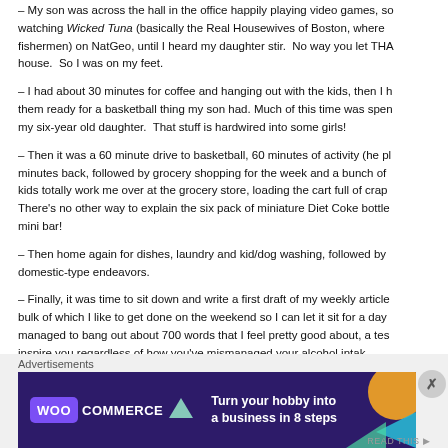– My son was across the hall in the office happily playing video games, so watching Wicked Tuna (basically the Real Housewives of Boston, where fishermen) on NatGeo, until I heard my daughter stir.  No way you let THA house.  So I was on my feet.
– I had about 30 minutes for coffee and hanging out with the kids, then I h them ready for a basketball thing my son had. Much of this time was spen my six-year old daughter.  That stuff is hardwired into some girls!
– Then it was a 60 minute drive to basketball, 60 minutes of activity (he pl minutes back, followed by grocery shopping for the week and a bunch of kids totally work me over at the grocery store, loading the cart full of crap There's no other way to explain the six pack of miniature Diet Coke bottle mini bar!
– Then home again for dishes, laundry and kid/dog washing, followed by domestic-type endeavors.
– Finally, it was time to sit down and write a first draft of my weekly article bulk of which I like to get done on the weekend so I can let it sit for a day managed to bang out about 700 words that I feel pretty good about, a tes inspire you regardless of how you've mismanaged your alcohol intak
Advertisements
[Figure (screenshot): WooCommerce advertisement banner: dark purple background with WooCommerce logo and text 'Turn your hobby into a business in 8 steps' with colorful geometric shapes on the right side.]